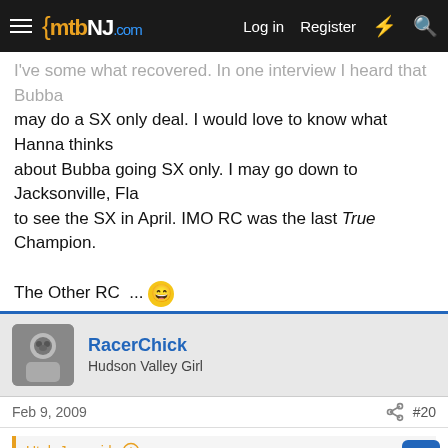mtbNJ.com — Log in | Register
I've some what recovered. In one interview I heard that Bubba may do a SX only deal. I would love to know what Hanna thinks about Bubba going SX only. I may go down to Jacksonville, Fla to see the SX in April. IMO RC was the last True Champion.

The Other RC ...
RacerChick — Hudson Valley Girl
Feb 9, 2009  #20
Utah Joe said: Suck jason lawrence got hurt. I know he's a little prick and all, but I always like routing for a NJ guy.
I bet J Law will soon be just another freestyle misfit. I saw him ride at E-town on the 80's and he could rip, such a waste of pure